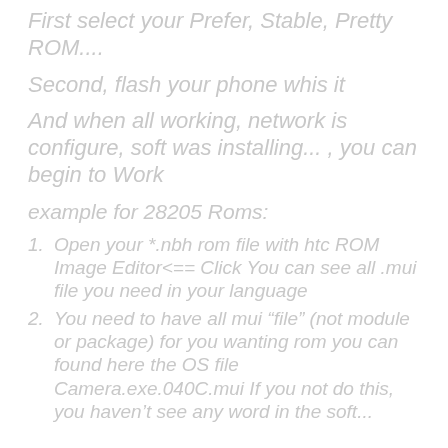First select your Prefer, Stable, Pretty ROM....
Second, flash your phone whis it
And when all working, network is configure, soft was installing... , you can begin to Work
example for 28205 Roms:
Open your *.nbh rom file with htc ROM Image Editor<== Click You can see all .mui file you need in your language
You need to have all mui “file” (not module or package) for you wanting rom you can found here the OS file Camera.exe.040C.mui If you not do this, you haven’t see any word in the soft...